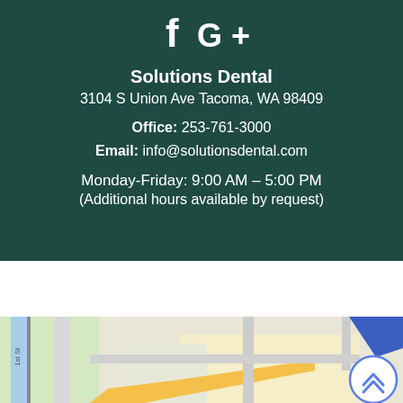[Figure (logo): Facebook and Google+ social media icons in white on dark teal background]
Solutions Dental
3104 S Union Ave Tacoma, WA 98409
Office: 253-761-3000
Email: info@solutionsdental.com
Monday-Friday: 9:00 AM – 5:00 PM
(Additional hours available by request)
[Figure (map): Google Maps screenshot showing street map of the area near 3104 S Union Ave Tacoma, WA 98409, with a blue circular scroll-up button in the bottom right corner]